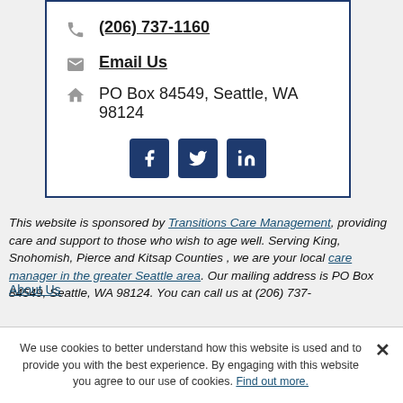(206) 737-1160
Email Us
PO Box 84549, Seattle, WA 98124
[Figure (illustration): Social media icons: Facebook, Twitter, LinkedIn in dark navy square buttons]
This website is sponsored by Transitions Care Management, providing care and support to those who wish to age well. Serving King, Snohomish, Pierce and Kitsap Counties , we are your local care manager in the greater Seattle area. Our mailing address is PO Box 84549, Seattle, WA 98124. You can call us at (206) 737-1160
We use cookies to better understand how this website is used and to provide you with the best experience. By engaging with this website you agree to our use of cookies. Find out more.
About Us